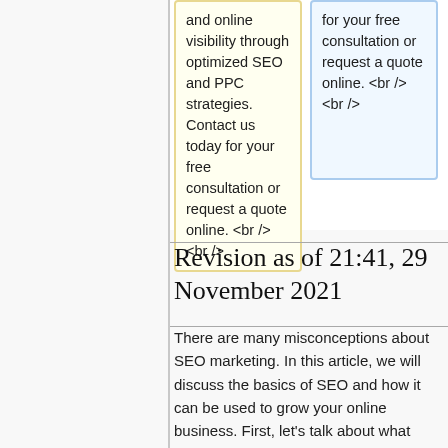and online visibility through optimized SEO and PPC strategies. Contact us today for your free consultation or request a quote online. <br /><br />
for your free consultation or request a quote online. <br /><br />
Revision as of 21:41, 29 November 2021
There are many misconceptions about SEO marketing. In this article, we will discuss the basics of SEO and how it can be used to grow your online business. First, let's talk about what exactly SEO is. There are two types of SEO: on-page and off-page. On-page